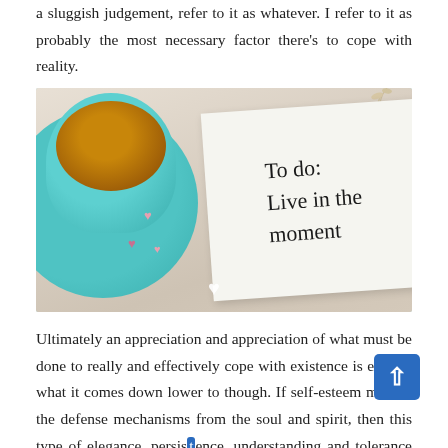a sluggish judgement, refer to it as whatever. I refer to it as probably the most necessary factor there's to cope with reality.
[Figure (photo): Photo of a teal/turquoise coffee cup with a note card reading 'To do: Live in the moment' in handwritten script, on a light wood background with small heart decorations.]
Ultimately an appreciation and appreciation of what must be done to really and effectively cope with existence is exactly what it comes down lower to though. If self-esteem may be the defense mechanisms from the soul and spirit, then this type of elegance, persistence, understanding and tolerance is what must be done to help keep everything working correctly for the reason that